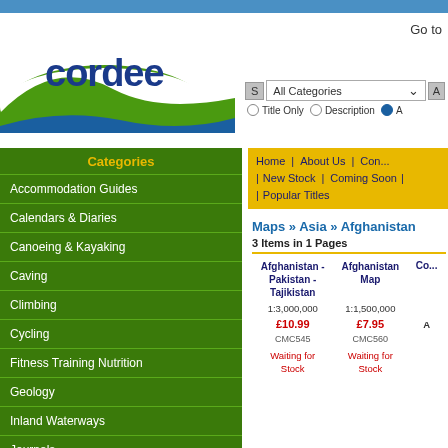[Figure (logo): Cordee logo with green hill and blue wave, company name in blue]
Go to
S  All Categories  ▼
○ Title Only  ○ Description  ● A
Home | About Us | Con... | New Stock | Coming Soon | | Popular Titles
Categories
Accommodation Guides
Calendars & Diaries
Canoeing & Kayaking
Caving
Climbing
Cycling
Fitness Training Nutrition
Geology
Inland Waterways
Journals
Maps » Asia » Afghanistan
3 Items in 1 Pages
| Afghanistan - Pakistan - Tajikistan | Afghanistan Map | Co... |
| --- | --- | --- |
| 1:3,000,000 | 1:1,500,000 | A |
| £10.99 | £7.95 |  |
| CMC545 | CMC560 |  |
| Waiting for Stock | Waiting for Stock |  |